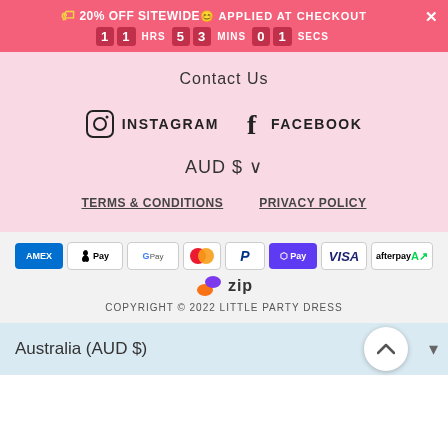🏷 20% OFF SITEWIDE😊 APPLIED AT CHECKOUT — 11 HRS 53 MINS 01 SECS
Contact Us
[Figure (infographic): Instagram and Facebook social media icons with labels INSTAGRAM and FACEBOOK]
AUD $ ∨
TERMS & CONDITIONS   PRIVACY POLICY
[Figure (infographic): Payment method logos: Amex, Apple Pay, Google Pay, Mastercard, PayPal, DPay, Visa, Afterpay, Zip]
COPYRIGHT © 2022 LITTLE PARTY DRESS
Australia (AUD $)